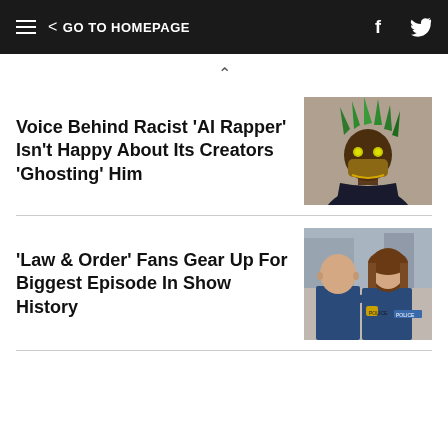GO TO HOMEPAGE
Voice Behind Racist 'AI Rapper' Isn't Happy About Its Creators 'Ghosting' Him
[Figure (illustration): An AI-generated or CGI character with green spiky hair, robotic/masked face, dark armored clothing]
'Law & Order' Fans Gear Up For Biggest Episode In Show History
[Figure (photo): Two people in police/detective attire standing together outdoors, one bald man and one woman with a badge]